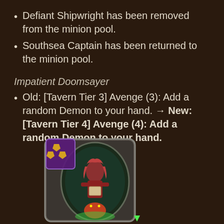Defiant Shipwright has been removed from the minion pool.
Southsea Captain has been returned to the minion pool.
Impatient Doomsayer
Old: [Tavern Tier 3] Avenge (3): Add a random Demon to your hand. → New: [Tavern Tier 4] Avenge (4): Add a random Demon to your hand.
[Figure (illustration): Hearthstone Battlegrounds card art for Impatient Doomsayer — a female character with red hair and a demon companion, displayed as a card with a purple star tier badge showing three stars]